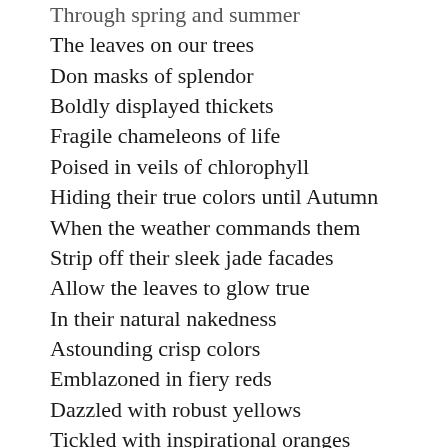Through spring and summer
The leaves on our trees
Don masks of splendor
Boldly displayed thickets
Fragile chameleons of life
Poised in veils of chlorophyll
Hiding their true colors until Autumn
When the weather commands them
Strip off their sleek jade facades
Allow the leaves to glow true
In their natural nakedness
Astounding crisp colors
Emblazoned in fiery reds
Dazzled with robust yellows
Tickled with inspirational oranges
Nature fine photography...